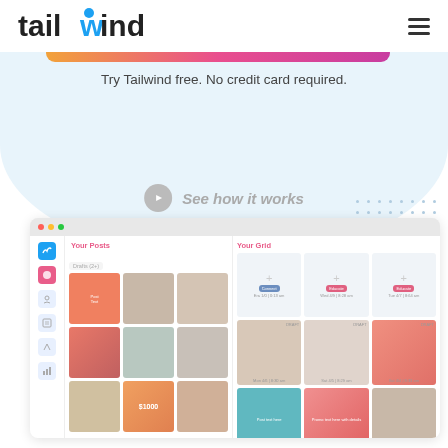[Figure (logo): Tailwind logo - black text 'tailwind' with blue 'w' and blue dot above the 'i']
[Figure (other): Hamburger menu icon (three horizontal lines)]
[Figure (other): Horizontal gradient bar from orange to pink/magenta]
Try Tailwind free. No credit card required.
See how it works
[Figure (screenshot): App UI screenshot showing 'Your Posts' grid of 9 post thumbnails and 'Your Grid' section with scheduling calendar view, with sidebar navigation icons]